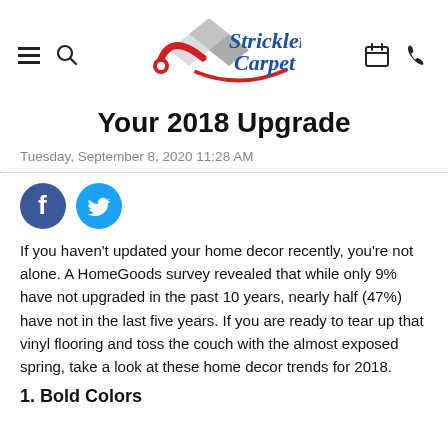[Figure (logo): Strickler Carpet logo with carpet roll and diamond shapes, blue cursive text]
Your 2018 Upgrade
Tuesday, September 8, 2020 11:28 AM
[Figure (infographic): Facebook and Twitter social share icons]
If you haven't updated your home decor recently, you're not alone. A HomeGoods survey revealed that while only 9% have not upgraded in the past 10 years, nearly half (47%) have not in the last five years. If you are ready to tear up that vinyl flooring and toss the couch with the almost exposed spring, take a look at these home decor trends for 2018.
1. Bold Colors